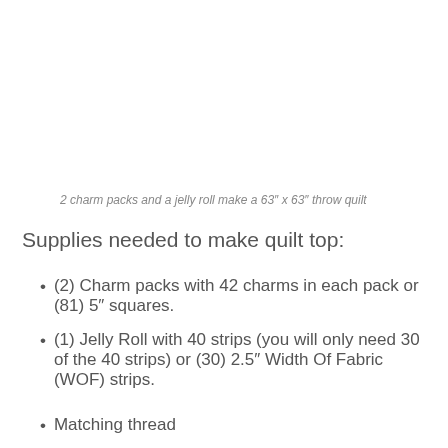2 charm packs and a jelly roll make a 63″ x 63″ throw quilt
Supplies needed to make quilt top:
(2) Charm packs with 42 charms in each pack or (81) 5″ squares.
(1) Jelly Roll with 40 strips (you will only need 30 of the 40 strips) or (30) 2.5″ Width Of Fabric (WOF) strips.
Matching thread